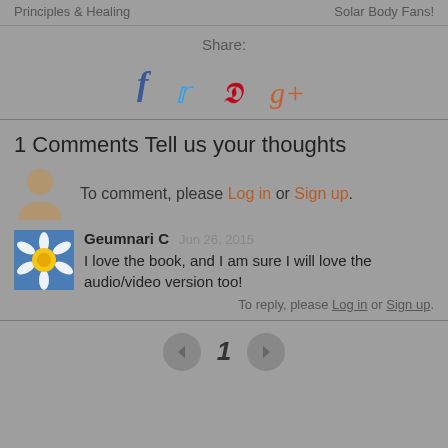Principles & Healing   Solar Body Fans!
Share:
[Figure (infographic): Social share icons: Facebook (f), Twitter (bird), Pinterest (p), Google+ (g+)]
1 Comments Tell us your thoughts
To comment, please Log in or Sign up.
Geumnari C  Jun 26, 2015
I love the book, and I am sure I will love the audio/video version too!
To reply, please Log in or Sign up.
1